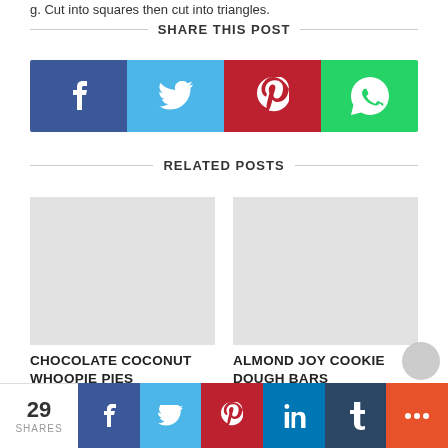g. Cut into squares then cut into triangles.
SHARE THIS POST
[Figure (infographic): Social share buttons: Facebook (dark blue), Twitter (light blue), Pinterest (red), WhatsApp (green)]
RELATED POSTS
CHOCOLATE COCONUT WHOOPIE PIES
ALMOND JOY COOKIE DOUGH BARS
[Figure (infographic): Bottom social share bar with 29 shares count, Facebook, Twitter, Pinterest, LinkedIn, Tumblr, and more (+) buttons]